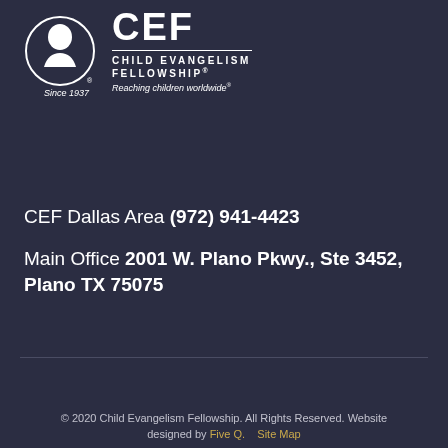[Figure (logo): CEF Child Evangelism Fellowship logo with circular child silhouette icon on left, large CEF text, 'CHILD EVANGELISM FELLOWSHIP®' and 'Reaching children worldwide®' text, 'Since 1937' below icon]
CEF Dallas Area (972) 941-4423
Main Office 2001 W. Plano Pkwy., Ste 3452, Plano TX 75075
© 2020 Child Evangelism Fellowship. All Rights Reserved. Website designed by Five Q.  Site Map